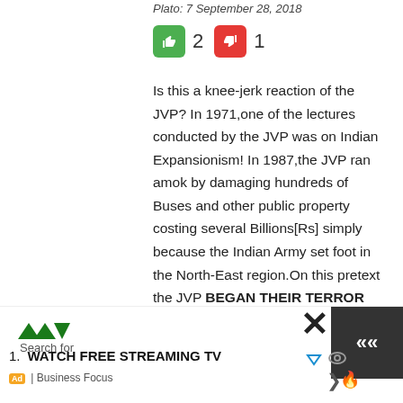Plato: 7 September 28, 2018
[Figure (other): Thumbs up (green) icon with count 2 and thumbs down (red) icon with count 1]
Is this a knee-jerk reaction of the JVP? In 1971,one of the lectures conducted by the JVP was on Indian Expansionism! In 1987,the JVP ran amok by damaging hundreds of Buses and other public property costing several Billions[Rs] simply because the Indian Army set foot in the North-East region.On this pretext the JVP BEGAN THEIR TERROR OF 1988/1989 and had to eventually bite the dust!
[Figure (logo): Advertisement banner: Search for logo, '1. WATCH FREE STREAMING TV', Ad | Business Focus, with X close button and navigation icons]